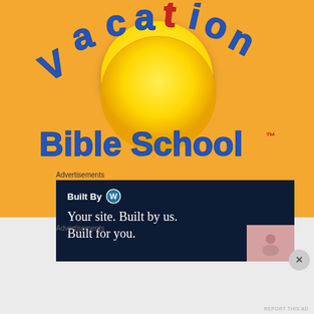[Figure (logo): Vacation Bible School logo with large colorful text 'Vacation' in blue arched letters with red letter T cross, over a yellow sun circle, and 'Bible School' text below in blue with TM mark, on orange background]
Advertisements
[Figure (screenshot): Dark navy advertisement banner: 'Built By' with WordPress logo, tagline 'Your site. Built by us. Built for you.' with partial image in bottom right corner]
Advertisements